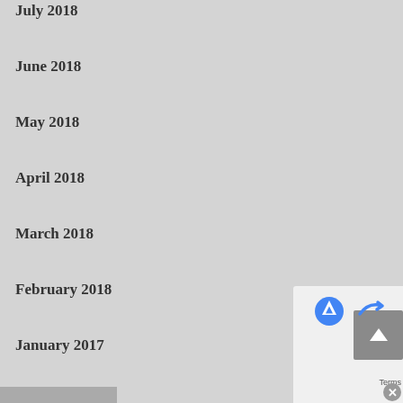July 2018
June 2018
May 2018
April 2018
March 2018
February 2018
January 2017